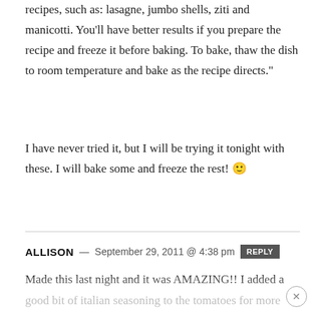recipes, such as: lasagne, jumbo shells, ziti and manicotti. You'll have better results if you prepare the recipe and freeze it before baking. To bake, thaw the dish to room temperature and bake as the recipe directs."
I have never tried it, but I will be trying it tonight with these. I will bake some and freeze the rest! 🙂
ALLISON — September 29, 2011 @ 4:38 pm  REPLY
Made this last night and it was AMAZING!! I added a good bit of italian seasoning to the tomatoes for more flavor. I had a good bit of sauce left, so now I have sauce for...